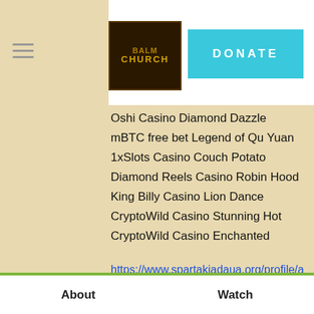Balm Church — DONATE
Oshi Casino Diamond Dazzle
mBTC free bet Legend of Qu Yuan
1xSlots Casino Couch Potato
Diamond Reels Casino Robin Hood
King Billy Casino Lion Dance
CryptoWild Casino Stunning Hot
CryptoWild Casino Enchanted
https://www.spartakiadaua.org/profile/awyieniks/profile
https://www.cookingforconfidence.co.uk/profile/selveydisethz/profile
https://www.himalayacycles.com/profile/spanocrapsei/profile
https://www.bombaytechnologist.com/profile/prusakmudgera/profile
About   Watch